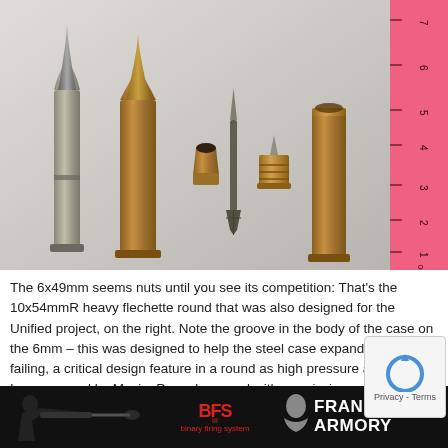[Figure (photo): Photograph of ammunition cartridges and components laid out on a white surface with a pink ruler on the right side. Shows a complete 6x49mm round on the far left (silver/steel case with pointed bullet), a complete 10x54mmR round next to it (brass case with pointed bullet), then disassembled components in the middle (jacket/cup, flechette dart, base/cap), and an empty brass case on the right. Pink ruler shows measurements in cm.]
The 6x49mm seems nuts until you see its competition: That's the 10x54mmR heavy flechette round that was also designed for the Unified project, on the right. Note the groove in the body of the case on the 6mm – this was designed to help the steel case expand without failing, a critical design feature in a round as high pressure as this one. Image owned by Maxim Popenker, used with permission.
[Figure (photo): Advertisement banner for Franklin Armory featuring a black background with a person firing a rifle on the left, a red BFS III (binary firing system) logo in the center, and Franklin Armory text and silhouette logo on the right. A reCAPTCHA widget overlays the right side.]